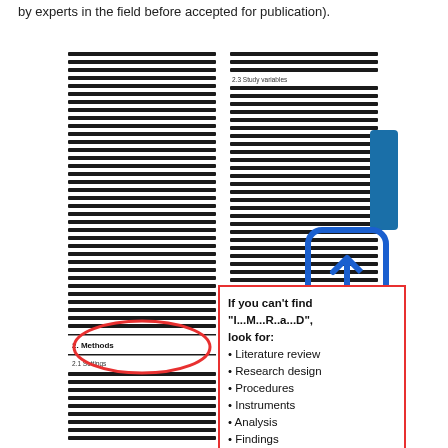by experts in the field before accepted for publication).
[Figure (screenshot): Screenshot of a research paper showing two-column layout with sections including Methods (section 2) and Settings (section 2.1) circled in red, and a Study variables header (section 2.3) visible in the right column. A blue bookmark-style icon and an ASK US tab appear as overlays.]
If you can’t find “I...M...R..a...D”, look for:
• Literature review
• Research design
• Procedures
• Instruments
• Analysis
• Findings
• Conclusions
• Implications